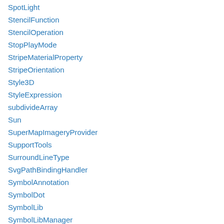SpotLight
StencilFunction
StencilOperation
StopPlayMode
StripeMaterialProperty
StripeOrientation
Style3D
StyleExpression
subdivideArray
Sun
SuperMapImageryProvider
SupportTools
SurroundLineType
SvgPathBindingHandler
SymbolAnnotation
SymbolDot
SymbolLib
SymbolLibManager
SymbolStyle